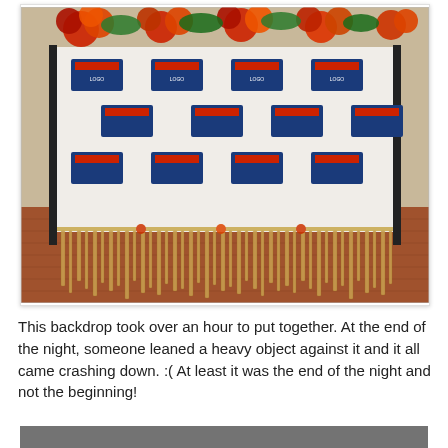[Figure (photo): A Hawaiian-themed event backdrop: a white step-and-repeat banner with blue and red logo patches arranged in a grid, decorated at the top with large red and orange tissue paper flowers and green foliage, and at the bottom with raffia/grass skirt fringe and small flower accents. The backdrop stands on a brick-paved floor, photographed in an outdoor or semi-outdoor venue.]
This backdrop took over an hour to put together. At the end of the night, someone leaned a heavy object against it and it all came crashing down. :( At least it was the end of the night and not the beginning!
[Figure (photo): Partial view of another photo at the bottom of the page (cropped).]